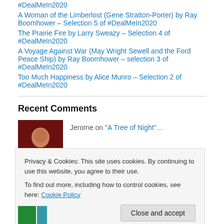#DealMeIn2020
A Woman of the Limberlost (Gene Stratton-Porter) by Ray Boomhower – Selection 5 of #DealMeIn2020
The Prairie Fire by Larry Sweazy – Selection 4 of #DealMeIn2020
A Voyage Against War (May Wright Sewell and the Ford Peace Ship) by Ray Boomhower – selection 3 of #DealMeIn2020
Too Much Happiness by Alice Munro – Selection 2 of #DealMeIn2020
Recent Comments
Jerome on "A Tree of Night"…
Privacy & Cookies: This site uses cookies. By continuing to use this website, you agree to their use.
To find out more, including how to control cookies, see here: Cookie Policy